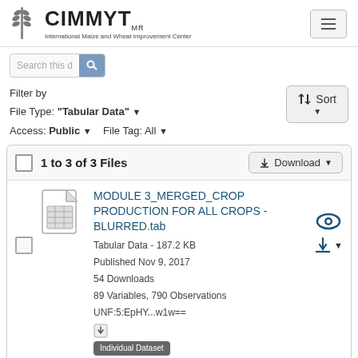CIMMYT International Maize and Wheat Improvement Center
Search this d
Filter by
File Type: "Tabular Data" ▼
Access: Public ▼   File Tag: All ▼
⇅ Sort ▼
1 to 3 of 3 Files
⬇ Download ▼
MODULE 3_MERGED_CROP PRODUCTION FOR ALL CROPS - BLURRED.tab
Tabular Data - 187.2 KB
Published Nov 9, 2017
54 Downloads
89 Variables, 790 Observations
UNF:5:EpHY...w1w==
Individual Dataset